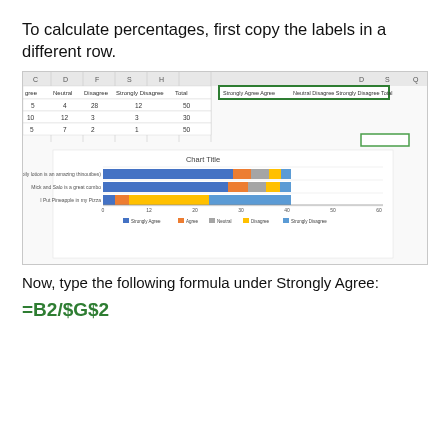To calculate percentages, first copy the labels in a different row.
[Figure (screenshot): Excel spreadsheet screenshot showing survey data table with columns for Strongly Agree, Agree, Neutral, Disagree, Strongly Disagree, Total, with a green-bordered highlighted row showing copied labels. Below is a horizontal stacked bar chart titled 'Chart Title' with three survey questions and colored bars for each response category.]
Now, type the following formula under Strongly Agree: